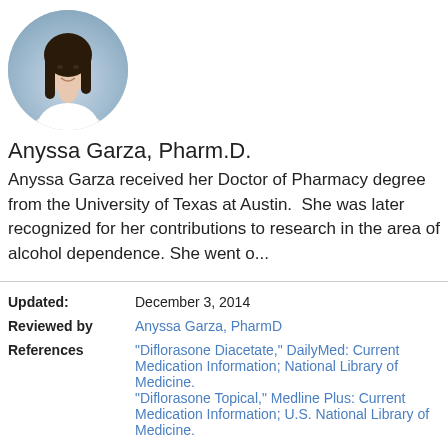[Figure (photo): Circular profile photo of Anyssa Garza, a woman with long dark hair wearing a white coat, against a light blue-grey background.]
Anyssa Garza, Pharm.D.
Anyssa Garza received her Doctor of Pharmacy degree from the University of Texas at Austin.  She was later recognized for her contributions to research in the area of alcohol dependence. She went o...
| Updated: | December 3, 2014 |
| Reviewed by | Anyssa Garza, PharmD |
| References | "Diflorasone Diacetate," DailyMed: Current Medication Information; National Library of Medicine.
"Diflorasone Topical," Medline Plus: Current Medication Information; U.S. National Library of Medicine. |
| Source | RxWiki |